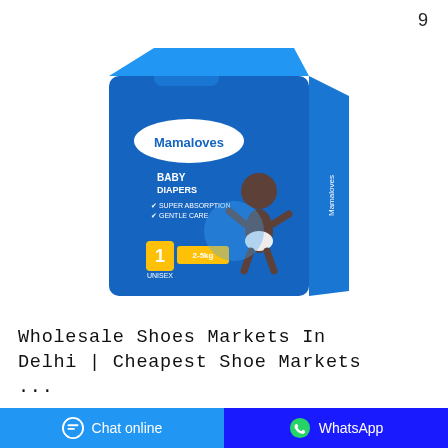9
[Figure (photo): Blue Mamaloves Baby Diapers product box, size 1 (2-5kg), Unisex, with image of a baby on the front. Features listed: Super Absorption, Gentle Care.]
Wholesale Shoes Markets In Delhi | Cheapest Shoe Markets ...
Mar 22, 2018·4. Chappal Waali Gali (Sardaar Bazaar) Wholesale shoe market at Sardaar Bazaar (source) If you are on a lookout for wholesale shoe markets in Delhi, heat straight to Sardaar Bazaar. Sardaar Bazaar is primarily known for its wholesale markets. However, there are some
Chat online   WhatsApp